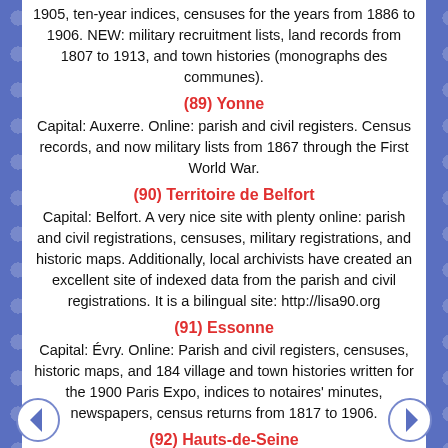1905, ten-year indices, censuses for the years from 1886 to 1906. NEW: military recruitment lists, land records from 1807 to 1913, and town histories (monographs des communes).
(89) Yonne
Capital: Auxerre. Online: parish and civil registers. Census records, and now military lists from 1867 through the First World War.
(90) Territoire de Belfort
Capital: Belfort. A very nice site with plenty online: parish and civil registrations, censuses, military registrations, and historic maps. Additionally, local archivists have created an excellent site of indexed data from the parish and civil registrations. It is a bilingual site: http://lisa90.org
(91) Essonne
Capital: Évry. Online: Parish and civil registers, censuses, historic maps, and 184 village and town histories written for the 1900 Paris Expo, indices to notaires' minutes, newspapers, census returns from 1817 to 1906.
(92) Hauts-de-Seine
Capital: Nanterre. Online: maps (also for the old department Seine from 1930 and for Seine-et-Oise from 1960); ten-year indices to the civil registrations through 1942; census records from 1891 to 1936, civil registrations for all towns from 1793 to